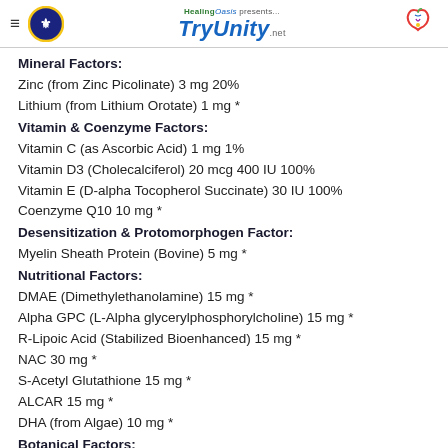HealingOasis presents... TryUnity .net
Mineral Factors:
Zinc (from Zinc Picolinate) 3 mg 20%
Lithium (from Lithium Orotate) 1 mg *
Vitamin & Coenzyme Factors:
Vitamin C (as Ascorbic Acid) 1 mg 1%
Vitamin D3 (Cholecalciferol) 20 mcg 400 IU 100%
Vitamin E (D-alpha Tocopherol Succinate) 30 IU 100%
Coenzyme Q10 10 mg *
Desensitization & Protomorphogen Factor:
Myelin Sheath Protein (Bovine) 5 mg *
Nutritional Factors:
DMAE (Dimethylethanolamine) 15 mg *
Alpha GPC (L-Alpha glycerylphosphorylcholine) 15 mg *
R-Lipoic Acid (Stabilized Bioenhanced) 15 mg *
NAC 30 mg *
S-Acetyl Glutathione 15 mg *
ALCAR 15 mg *
DHA (from Algae) 10 mg *
Botanical Factors: